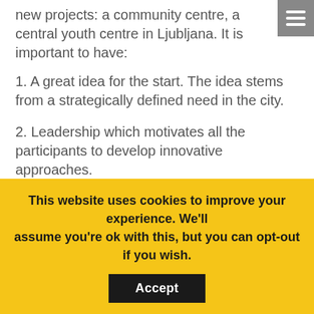new projects: a community centre, a central youth centre in Ljubljana. It is important to have:
1. A great idea for the start. The idea stems from a strategically defined need in the city.
2. Leadership which motivates all the participants to develop innovative approaches.
3. Understanding that our diversity is our priority and that we are dedicated to an inclusive process that we trust will deliver a result we will all be proud of.
4. (partially visible)
This website uses cookies to improve your experience. We'll assume you're ok with this, but you can opt-out if you wish. Accept